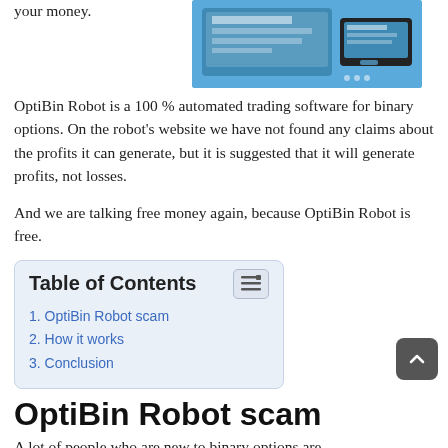your money.
[Figure (screenshot): Screenshot of a website/app interface on blue background showing desktop and mobile views]
OptiBin Robot is a 100 % automated trading software for binary options. On the robot’s website we have not found any claims about the profits it can generate, but it is suggested that it will generate profits, not losses.
And we are talking free money again, because OptiBin Robot is free.
| 1. OptiBin Robot scam |
| 2. How it works |
| 3. Conclusion |
OptiBin Robot scam
A lot of people who are new to binary options are